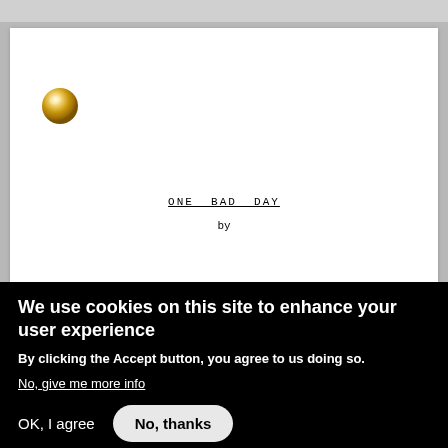[Figure (illustration): A gold metallic sphere/bullet point in the upper left of a white screenplay document page]
ONE BAD DAY
by
We use cookies on this site to enhance your user experience
By clicking the Accept button, you agree to us doing so.
No, give me more info
OK, I agree
No, thanks